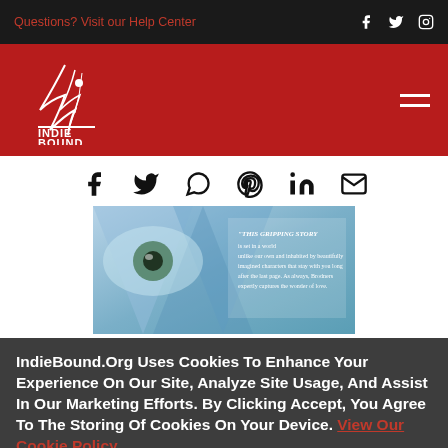Questions? Visit our Help Center
[Figure (logo): IndieBound logo on red header background with hamburger menu icon]
[Figure (infographic): Social share icons: Facebook, Twitter, WhatsApp, Pinterest, LinkedIn, Email]
[Figure (photo): Book cover image showing a close-up eye with colorful geometric background and text quote: THIS GRIPPING STORY is set in a world unlike our own and inhabited by beautifully imagined characters that stay with you long after the last page. As always, Brodners expertly captures the wonder of love.]
IndieBound.Org Uses Cookies To Enhance Your Experience On Our Site, Analyze Site Usage, And Assist In Our Marketing Efforts. By Clicking Accept, You Agree To The Storing Of Cookies On Your Device. View Our Cookie Policy.
Give me more info